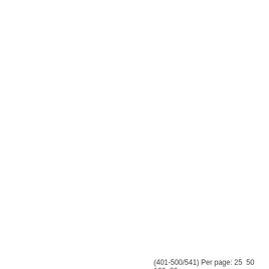|  | ID | Package |
| --- | --- | --- |
| ☐ | 12863 | TYPO3.Fluid |
| ☐ | 11039 | TYPO3.Flow |
| ☐ | 10911 | TYPO3.Fluid |
| ☐ | 10678 | TYPO3.Flow |
| ☐ | 10472 | TYPO3.Fluid |
| ☐ | 9968 | TYPO3.Flow |
| ☐ | 9950 | TYPO3.Fluid |
| ☐ | 9861 | TYPO3.Flow |
| ☐ | 9537 | TYPO3.Flow |
| ☐ | 9514 | TYPO3.Fluid |
| ☐ | 9313 | TYPO3.Flow |
| ☐ | 9005 | TYPO3.Fluid |
« Previous  1  ...  3  4  5  6
(401-500/541) Per page: 25  50  100  20...